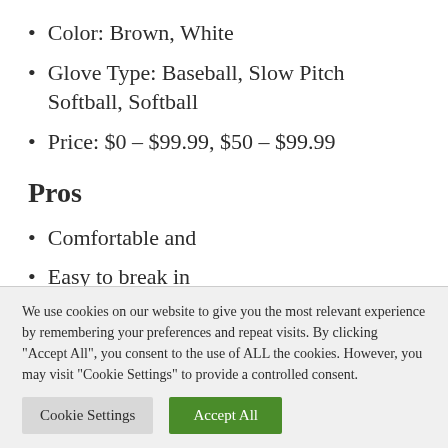Color: Brown, White
Glove Type: Baseball, Slow Pitch Softball, Softball
Price: $0 – $99.99, $50 – $99.99
Pros
Comfortable and
Easy to break in
We use cookies on our website to give you the most relevant experience by remembering your preferences and repeat visits. By clicking "Accept All", you consent to the use of ALL the cookies. However, you may visit "Cookie Settings" to provide a controlled consent.